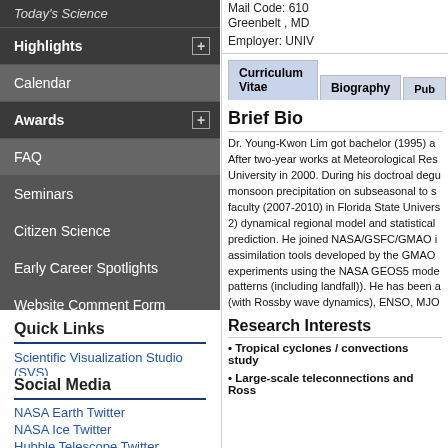Today's Science (partial, nav)
Highlights
Calendar
Awards
FAQ
Seminars
Citizen Science
Early Career Spotlights
Website Comment Form
Quick Links
Scientific Visualization Studio (SVS)
Social Media
NASA Earth Twitter
NASA Ice Twitter
Hubble Telescope Twitter
JWST Twitter
NASA Sun Twitter
Mail Code: 010
Greenbelt , MD
Employer: UNIV
Curriculum Vitae | Biography | Pub
Brief Bio
Dr. Young-Kwon Lim got bachelor (1995) a After two-year works at Meteorological Res University in 2000. During his doctroal degu monsoon precipitation on subseasonal to s faculty (2007-2010) in Florida State Univers 2) dynamical regional model and statistical prediction. He joined NASA/GSFC/GMAO i assimilation tools developed by the GMAO experiments using the NASA GEOS5 mode patterns (including landfall)). He has been a (with Rossby wave dynamics), ENSO, MJO
Research Interests
Tropical cyclones / convections study
Large-scale teleconnections and Ross